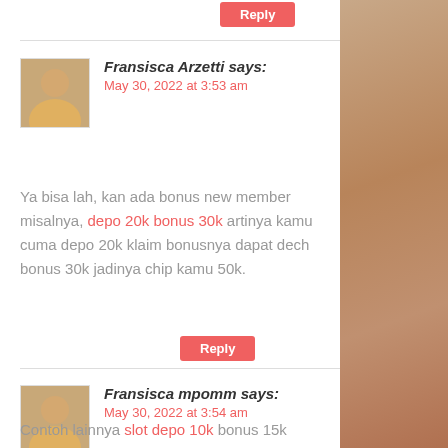Reply (button at top)
Fransisca Arzetti says: May 30, 2022 at 3:53 am
Ya bisa lah, kan ada bonus new member misalnya, depo 20k bonus 30k artinya kamu cuma depo 20k klaim bonusnya dapat dech bonus 30k jadinya chip kamu 50k.
Reply (button)
Fransisca mpomm says: May 30, 2022 at 3:54 am
Contoh lainnya slot depo 10k bonus 15k artinya